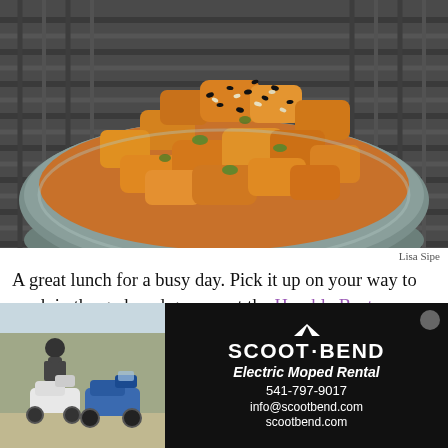[Figure (photo): A ceramic bowl filled with golden beet poke topped with sesame seeds (black and white) and chopped herbs, sitting on a woven dark surface]
Lisa Sipe
A great lunch for a busy day. Pick it up on your way to work in the grab and go case at the Humble Beet. Golden beets act like the Beyond Meat of poke. It tastes so much like the original Hawaiian dish it's hard to tell this dish is vegan. The sesame oil, salty
[Figure (photo): Advertisement for Scoot Bend Electric Moped Rental. Left side shows outdoor photo of two electric mopeds with a person. Right side is black background with logo, tagline Electric Moped Rental, phone 541-797-9017, info@scootbend.com, scootbend.com]